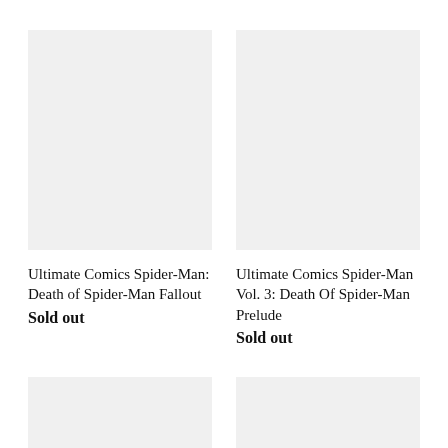[Figure (photo): Gray placeholder image for book cover]
Ultimate Comics Spider-Man: Death of Spider-Man Fallout
Sold out
[Figure (photo): Gray placeholder image for book cover]
Ultimate Comics Spider-Man Vol. 3: Death Of Spider-Man Prelude
Sold out
[Figure (photo): Gray placeholder image for book cover]
[Figure (photo): Gray placeholder image for book cover]